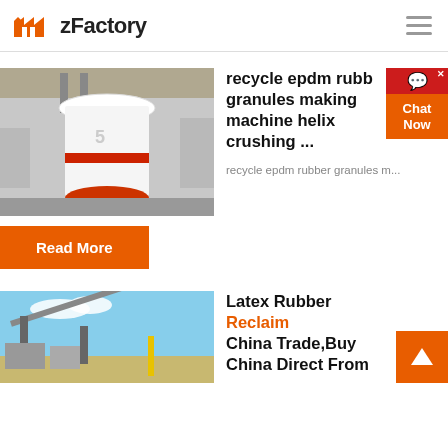[Figure (logo): zFactory logo with orange factory icon]
[Figure (photo): Large white industrial grinding/milling machine in factory setting]
recycle epdm rubber granules making machine helix crushing ...
recycle epdm rubber granules m...
Read More
[Figure (photo): Industrial machinery/conveyor equipment outdoors]
Latex Rubber Reclaim China Trade,Buy China Direct From...